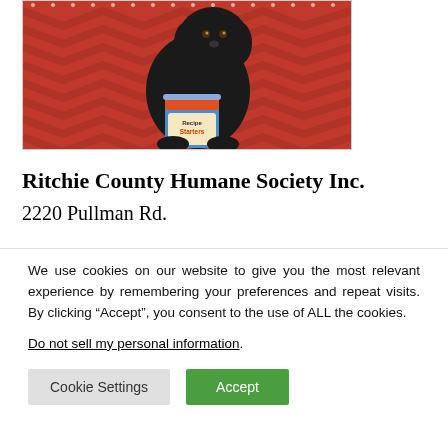[Figure (photo): A black puppy sitting on a red chevron-patterned blanket, with a can of 'Recipe Starters' food in front of it.]
Ritchie County Humane Society Inc.
2220 Pullman Rd.
We use cookies on our website to give you the most relevant experience by remembering your preferences and repeat visits. By clicking “Accept”, you consent to the use of ALL the cookies.
Do not sell my personal information.